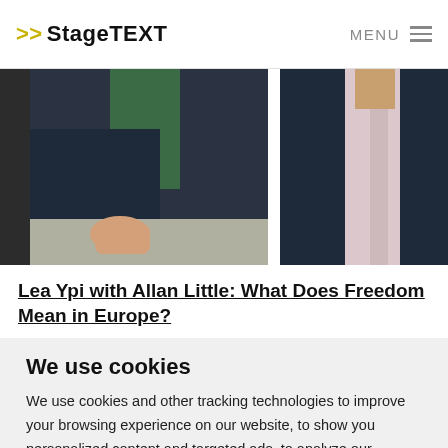>> StageTEXT  MENU
[Figure (photo): Two people in dark suits photographed from chest down, one partially visible with green shirt, the other in a white/pink shirt, both in dark navy blazers]
Lea Ypi with Allan Little: What Does Freedom Mean in Europe?
We use cookies
We use cookies and other tracking technologies to improve your browsing experience on our website, to show you personalized content and targeted ads, to analyze our website traffic, and